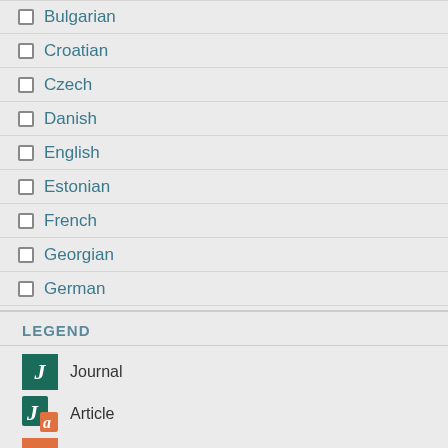Bulgarian
Croatian
Czech
Danish
English
Estonian
French
Georgian
German
Greek, Modern (1453-)
Hebrew
Hungarian
Latvian
Lithuanian
LEGEND
Journal
Article
Book
Chapter